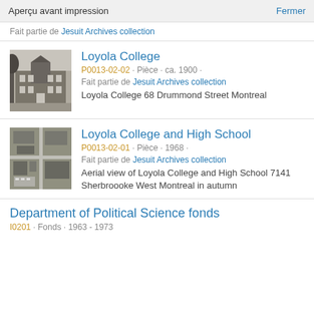Aperçu avant impression   Fermer
Fait partie de Jesuit Archives collection
Loyola College
P0013-02-02 · Pièce · ca. 1900 ·
Fait partie de Jesuit Archives collection
Loyola College 68 Drummond Street Montreal
Loyola College and High School
P0013-02-01 · Pièce · 1968 ·
Fait partie de Jesuit Archives collection
Aerial view of Loyola College and High School 7141 Sherbroooke West Montreal in autumn
Department of Political Science fonds
I0201 · Fonds · 1963 - 1973